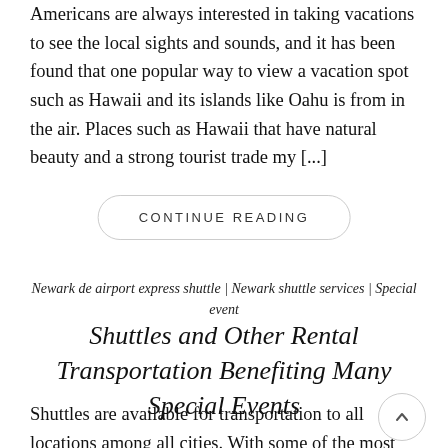Americans are always interested in taking vacations to see the local sights and sounds, and it has been found that one popular way to view a vacation spot such as Hawaii and its islands like Oahu is from in the air. Places such as Hawaii that have natural beauty and a strong tourist trade my [...]
CONTINUE READING
Newark de airport express shuttle | Newark shuttle services | Special event
Shuttles and Other Rental Transportation Benefiting Many Special Events
Shuttles are available for transportation to all locations among all cities. With some of the most common use as the need for a shuttle as a ride to